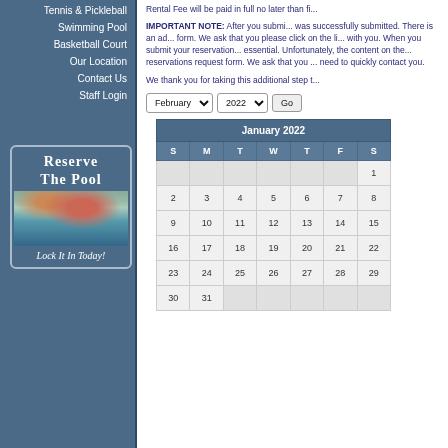Tennis & Pickleball
Swimming Pool
Basketball Court
Our Location
Contact Us
Staff Login
[Figure (illustration): Reserve The Pool banner with pool photo and tagline: Lock It In Today!]
Rental Fee will be paid in full no later than fi...
IMPORTANT NOTE: After you submi... was successfully submitted. There is an ad... form. We ask that you please click on the lin... with you. When you submit your reservation... essential. Unfortunately, the content on the... reservations request form. We ask that you ... need to quickly contact you.
We thank you for taking this additional step t...
| S | M | T | W | T | F | S |
| --- | --- | --- | --- | --- | --- | --- |
|  |  |  |  |  |  | 1 |
| 2 | 3 | 4 | 5 | 6 | 7 | 8 |
| 9 | 10 | 11 | 12 | 13 | 14 | 15 |
| 16 | 17 | 18 | 19 | 20 | 21 | 22 |
| 23 | 24 | 25 | 26 | 27 | 28 | 29 |
| 30 | 31 |  |  |  |  |  |